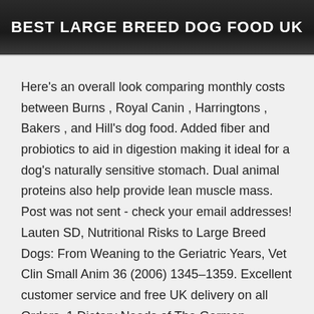BEST LARGE BREED DOG FOOD UK
Here's an overall look comparing monthly costs between Burns , Royal Canin , Harringtons , Bakers , and Hill's dog food. Added fiber and probiotics to aid in digestion making it ideal for a dog's naturally sensitive stomach. Dual animal proteins also help provide lean muscle mass. Post was not sent - check your email addresses! Lauten SD, Nutritional Risks to Large Breed Dogs: From Weaning to the Geriatric Years, Vet Clin Small Anim 36 (2006) 1345–1359. Excellent customer service and free UK delivery on all Orders. 1 Dietary Needs of The German Shepherd; 2 What is The Best Dry Dog Food for My German Shepherd. Best raw dog food If you want to transition your dog to a raw-only diet, you should do this